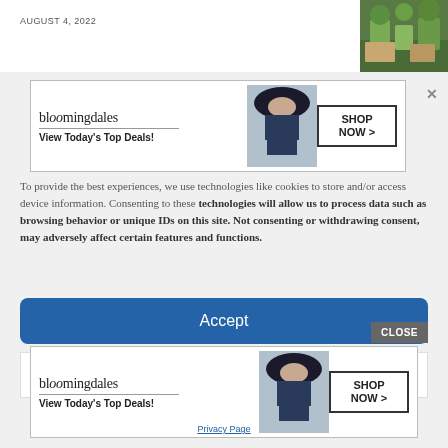AUGUST 4, 2022
[Figure (photo): Small photo of outdoor scene with people, greenery]
[Figure (illustration): Bloomingdales advertisement banner - View Today's Top Deals! SHOP NOW >]
To provide the best experiences, we use technologies like cookies to store and/or access device information. Consenting to these technologies will allow us to process data such as browsing behavior or unique IDs on this site. Not consenting or withdrawing consent, may adversely affect certain features and functions.
Accept
Deny
CLOSE
[Figure (illustration): Bloomingdales advertisement banner - View Today's Top Deals! SHOP NOW >]
Privacy Page